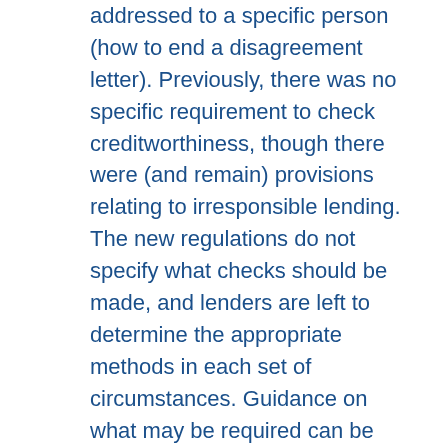addressed to a specific person (how to end a disagreement letter). Previously, there was no specific requirement to check creditworthiness, though there were (and remain) provisions relating to irresponsible lending. The new regulations do not specify what checks should be made, and lenders are left to determine the appropriate methods in each set of circumstances. Guidance on what may be required can be found on the Office of Fair Trading's website in it's response on “Irresponsible Lending – OFT Guidance for Creditors”, March 2010 (updated February 2011) consumer credit (exempt agreements) order 1989. Yes, of course. Not everyone opts for a legal separation based solely on financial reasons. In some cases, other considerations come into play. For example, some couples remain separated for